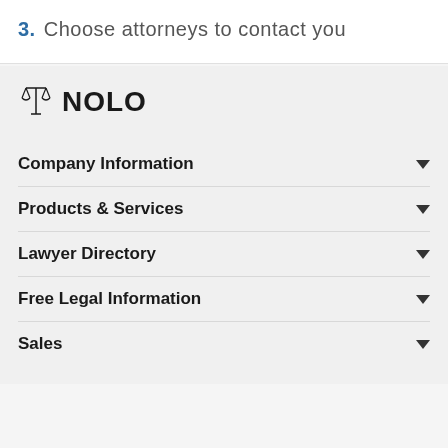3. Choose attorneys to contact you
[Figure (logo): NOLO logo with scales of justice icon]
Company Information
Products & Services
Lawyer Directory
Free Legal Information
Sales